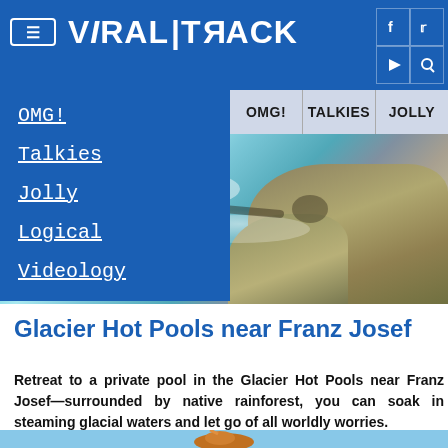ViralTrack — OMG! TALKIES JOLLY
OMG!
Talkies
Jolly
Logical
Videology
[Figure (photo): People swimming in the Glacier Hot Pools near Franz Josef, with rocky formations and turquoise glacial water]
Glacier Hot Pools near Franz Josef
Retreat to a private pool in the Glacier Hot Pools near Franz Josef—surrounded by native rainforest, you can soak in steaming glacial waters and let go of all worldly worries.
[Figure (photo): Partial bottom image showing a bird against a blue sky background]